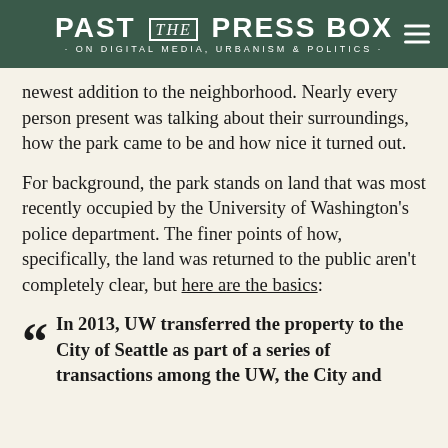PAST THE PRESS BOX · ON DIGITAL MEDIA, URBANISM & POLITICS ·
newest addition to the neighborhood. Nearly every person present was talking about their surroundings, how the park came to be and how nice it turned out.
For background, the park stands on land that was most recently occupied by the University of Washington's police department. The finer points of how, specifically, the land was returned to the public aren't completely clear, but here are the basics:
In 2013, UW transferred the property to the City of Seattle as part of a series of transactions among the UW, the City and the Washington State Department of...